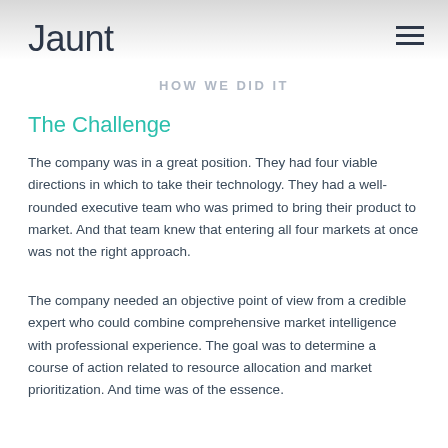Jaunt
HOW WE DID IT
The Challenge
The company was in a great position. They had four viable directions in which to take their technology. They had a well-rounded executive team who was primed to bring their product to market. And that team knew that entering all four markets at once was not the right approach.
The company needed an objective point of view from a credible expert who could combine comprehensive market intelligence with professional experience. The goal was to determine a course of action related to resource allocation and market prioritization. And time was of the essence.